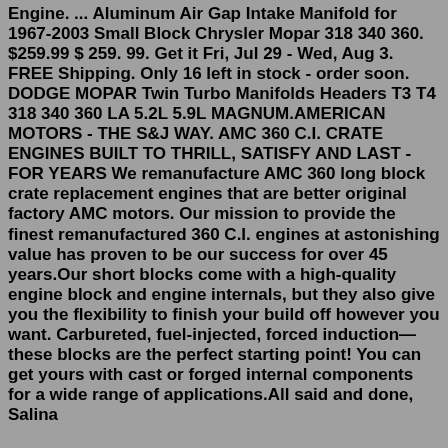Engine. ... Aluminum Air Gap Intake Manifold for 1967-2003 Small Block Chrysler Mopar 318 340 360. $259.99 $ 259. 99. Get it Fri, Jul 29 - Wed, Aug 3. FREE Shipping. Only 16 left in stock - order soon. DODGE MOPAR Twin Turbo Manifolds Headers T3 T4 318 340 360 LA 5.2L 5.9L MAGNUM.AMERICAN MOTORS - THE S&J WAY. AMC 360 C.I. CRATE ENGINES BUILT TO THRILL, SATISFY AND LAST - FOR YEARS We remanufacture AMC 360 long block crate replacement engines that are better original factory AMC motors. Our mission to provide the finest remanufactured 360 C.I. engines at astonishing value has proven to be our success for over 45 years.Our short blocks come with a high-quality engine block and engine internals, but they also give you the flexibility to finish your build off however you want. Carbureted, fuel-injected, forced induction—these blocks are the perfect starting point! You can get yours with cast or forged internal components for a wide range of applications.All said and done, Salina